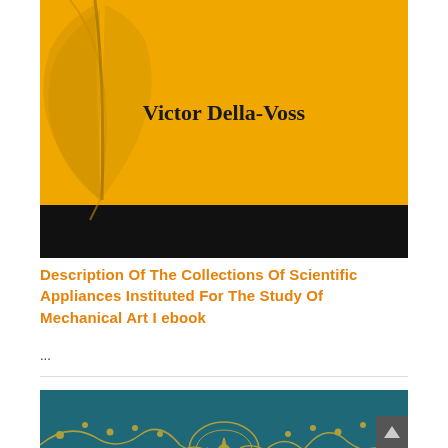[Figure (illustration): Book cover with golden/yellow background featuring a quill feather illustration and the text 'Victor Della-Voss' in serif font. Lower portion is black.]
Description Of The Collections Of Scientific Appliances Instituted For The Study Of Mechanical Art I ebook
...
[Figure (illustration): Bottom portion of a book cover with teal/dark blue background featuring ornate golden decorative border design with scrollwork and floral motifs.]